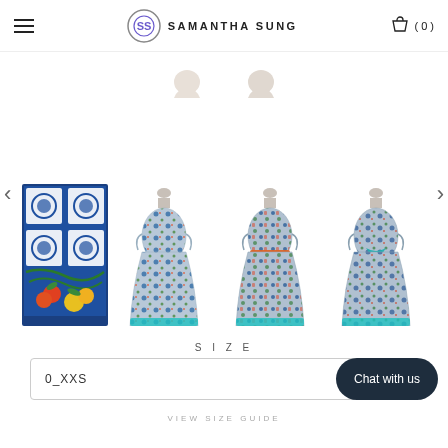SAMANTHA SUNG — navigation header with hamburger menu, logo, and cart (0)
[Figure (photo): E-commerce product page showing fabric swatch with blue Sicilian tile and fruit pattern, and three mannequins wearing floral print midi dresses with teal hem detail, navigation arrows on sides]
SIZE
0_XXS
Chat with us
VIEW SIZE GUIDE